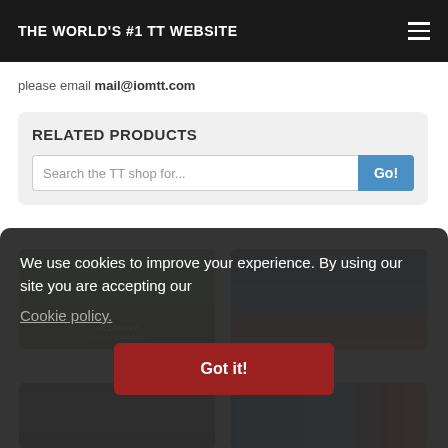THE WORLD'S #1 TT WEBSITE
please email mail@iomtt.com
RELATED PRODUCTS
Search the TT shop for...
[Figure (photo): Product card: Hillberry landscape/DVD cover with green hills]
[Figure (photo): Product card: Olivers Mount motorcycle racing DVD cover]
[Figure (photo): Partial product card bottom left - dark background]
[Figure (photo): Partial product card bottom right - blue and red background]
We use cookies to improve your experience. By using our site you are accepting our
Cookie policy.
Got it!